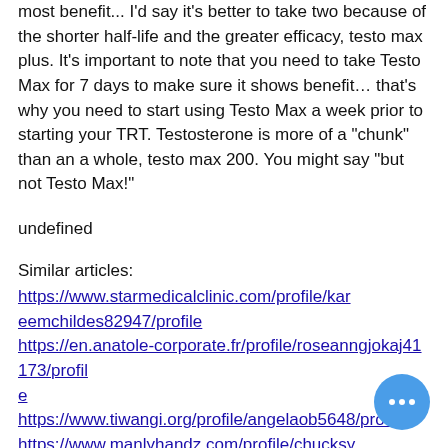most benefit... I'd say it's better to take two because of the shorter half-life and the greater efficacy, testo max plus. It's important to note that you need to take Testo Max for 7 days to make sure it shows benefit… that's why you need to start using Testo Max a week prior to starting your TRT. Testosterone is more of a "chunk" than an a whole, testo max 200. You might say "but not Testo Max!"
undefined
Similar articles:
https://www.starmedicalclinic.com/profile/kareemchildes82947/profile
https://en.anatole-corporate.fr/profile/roseanngjokaj41173/profile
https://www.tiwangi.org/profile/angelaob5648/profile
https://www.manlyhandz.com/profile/chucksy